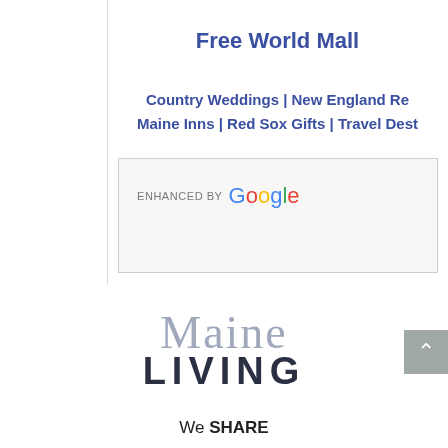Free World Mall
Country Weddings | New England Re... | Maine Inns | Red Sox Gifts | Travel Dest...
[Figure (screenshot): Enhanced by Google search box widget]
[Figure (logo): Maine Living logo — 'Maine' in gray serif font, 'LIVING' in dark bold sans-serif]
We SHARE the Best of MAINE